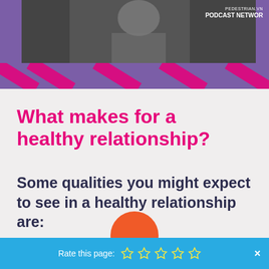[Figure (photo): Top banner with person holding phone, purple diagonal stripe background with podcast network text overlay]
What makes for a healthy relationship?
Some qualities you might expect to see in a healthy relationship are:
Rate this page: ☆ ☆ ☆ ☆ ☆ ×